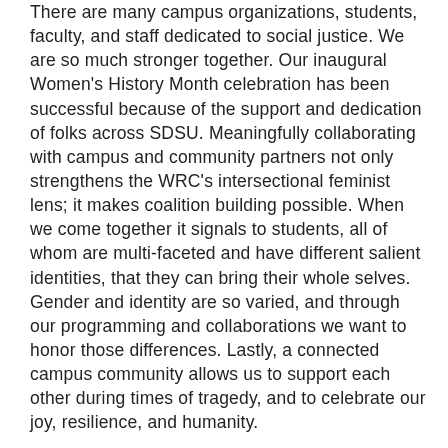There are many campus organizations, students, faculty, and staff dedicated to social justice. We are so much stronger together. Our inaugural Women's History Month celebration has been successful because of the support and dedication of folks across SDSU. Meaningfully collaborating with campus and community partners not only strengthens the WRC's intersectional feminist lens; it makes coalition building possible. When we come together it signals to students, all of whom are multi-faceted and have different salient identities, that they can bring their whole selves. Gender and identity are so varied, and through our programming and collaborations we want to honor those differences. Lastly, a connected campus community allows us to support each other during times of tragedy, and to celebrate our joy, resilience, and humanity.